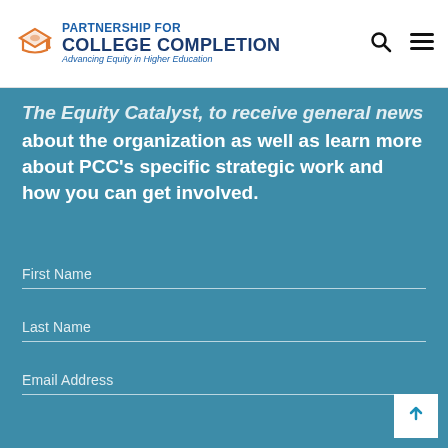Partnership for College Completion — Advancing Equity in Higher Education
The Equity Catalyst, to receive general news about the organization as well as learn more about PCC's specific strategic work and how you can get involved.
First Name
Last Name
Email Address
SIGN ME UP!